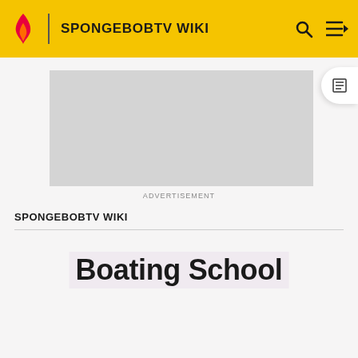SPONGEBOBTV WIKI
[Figure (other): Advertisement placeholder – grey rectangle with label ADVERTISEMENT]
SPONGEBOBTV WIKI
Boating School